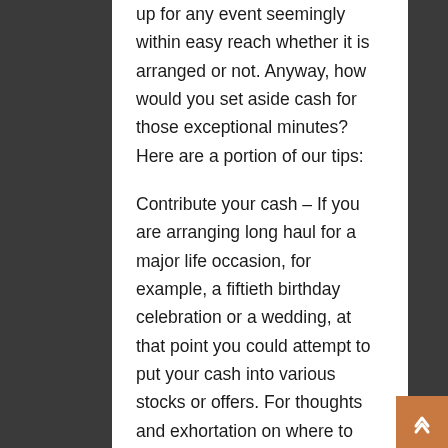up for any event seemingly within easy reach whether it is arranged or not. Anyway, how would you set aside cash for those exceptional minutes? Here are a portion of our tips:
Contribute your cash – If you are arranging long haul for a major life occasion, for example, a fiftieth birthday celebration or a wedding, at that point you could attempt to put your cash into various stocks or offers. For thoughts and exhortation on where to begin with putting your cash in the business sectors, visit IG for top tips and data. You can even